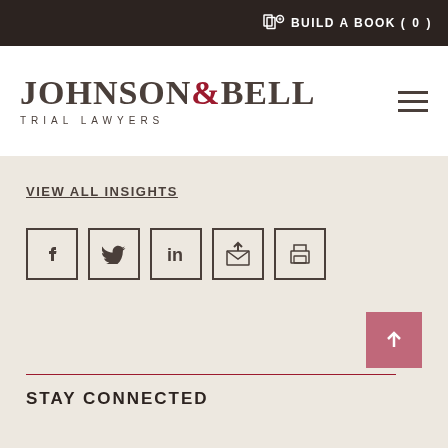BUILD A BOOK ( 0 )
[Figure (logo): Johnson & Bell Trial Lawyers logo with serif text, ampersand in red]
VIEW ALL INSIGHTS
[Figure (infographic): Social media share icons: Facebook, Twitter, LinkedIn, Email, Print]
STAY CONNECTED